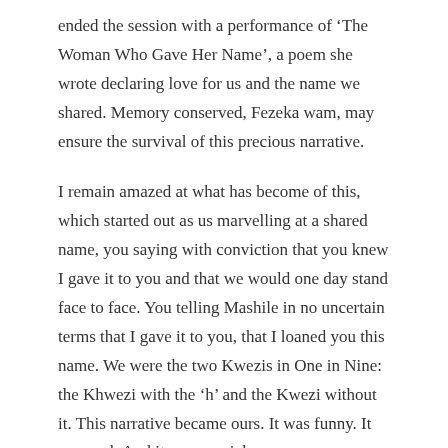ended the session with a performance of ‘The Woman Who Gave Her Name’, a poem she wrote declaring love for us and the name we shared. Memory conserved, Fezeka wam, may ensure the survival of this precious narrative.

I remain amazed at what has become of this, which started out as us marvelling at a shared name, you saying with conviction that you knew I gave it to you and that we would one day stand face to face. You telling Mashile in no uncertain terms that I gave it to you, that I loaned you this name. We were the two Kwezis in One in Nine: the Khwezi with the ‘h’ and the Kwezi without it. This narrative became ours. It was funny. It was real. And it was special.
[Figure (other): Social sharing buttons: Facebook (blue square with 'f') and Twitter (light blue square with bird icon)]